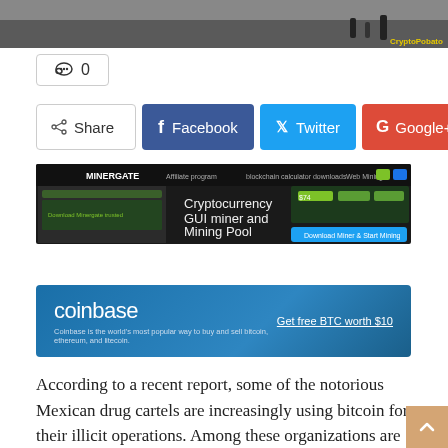[Figure (photo): Street scene photo with people, CryptoPobata watermark in yellow/gold text on bottom right]
💬 0
[Figure (screenshot): Social share buttons: Share, Facebook, Twitter, Google+, plus button]
[Figure (screenshot): MinerGate advertisement: Cryptocurrency GUI miner and Mining Pool, Download Miner & Start Mining button]
[Figure (screenshot): Coinbase advertisement: coinbase - Get free BTC worth $10. Coinbase is the world's most popular way to buy and sell bitcoin, ethereum, and litecoin.]
According to a recent report, some of the notorious Mexican drug cartels are increasingly using bitcoin for their illicit operations. Among these organizations are Jalisco New Generation Cartel and Sinaloa Cartel.